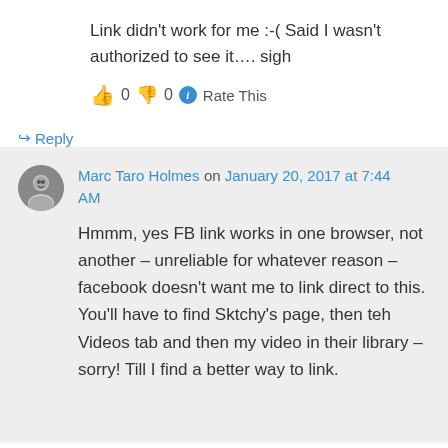Link didn't work for me :-( Said I wasn't authorized to see it…. sigh
👍 0 👎 0 ℹ Rate This
↪ Reply
Marc Taro Holmes on January 20, 2017 at 7:44 AM
Hmmm, yes FB link works in one browser, not another – unreliable for whatever reason – facebook doesn't want me to link direct to this. You'll have to find Sktchy's page, then teh Videos tab and then my video in their library – sorry! Till I find a better way to link.